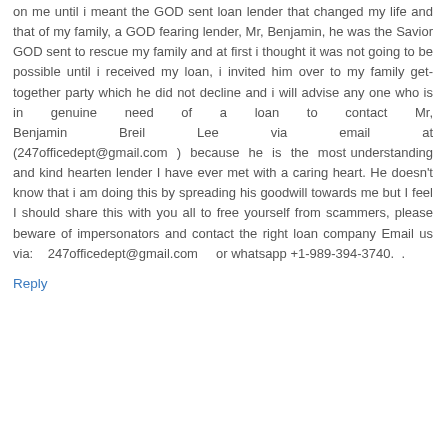on me until i meant the GOD sent loan lender that changed my life and that of my family, a GOD fearing lender, Mr, Benjamin, he was the Savior GOD sent to rescue my family and at first i thought it was not going to be possible until i received my loan, i invited him over to my family get-together party which he did not decline and i will advise any one who is in genuine need of a loan to contact Mr, Benjamin Breil Lee via email at (247officedept@gmail.com ) because he is the most understanding and kind hearten lender I have ever met with a caring heart. He doesn't know that i am doing this by spreading his goodwill towards me but I feel I should share this with you all to free yourself from scammers, please beware of impersonators and contact the right loan company Email us via:   247officedept@gmail.com   or whatsapp +1-989-394-3740.  .
Reply